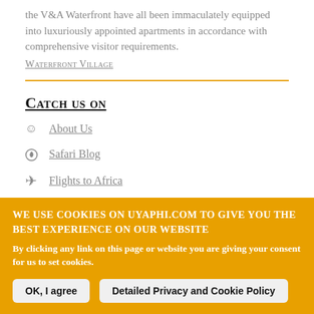the V&A Waterfront have all been immaculately equipped into luxuriously appointed apartments in accordance with comprehensive visitor requirements.
Waterfront Village
Catch us on
About Us
Safari Blog
Flights to Africa
Conference Planning
We use cookies on Uyaphi.com to give you the best experience on our website
By clicking any link on this page or website you are giving your consent for us to set cookies.